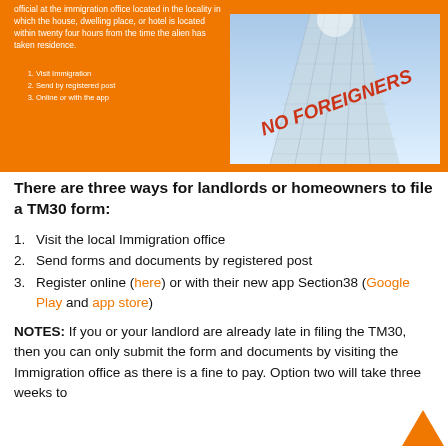[Figure (infographic): Orange infographic banner showing a building photo with 'NO FOREIGNERS' text overlay, plus a numbered list: 1. Visit Immigration 2. Send by registered post 3. Online or with the app. Text at top: 'official at the immigration office located in the locality in which the house, dwelling place, or hotel is located within twenty four hours from the time the alien has taken residence.']
There are three ways for landlords or homeowners to file a TM30 form:
Visit the local Immigration office
Send forms and documents by registered post
Register online (here) or with their new app Section38 (Google Play and app store)
NOTES: If you or your landlord are already late in filing the TM30, then you can only submit the form and documents by visiting the Immigration office as there is a fine to pay. Option two will take three weeks to